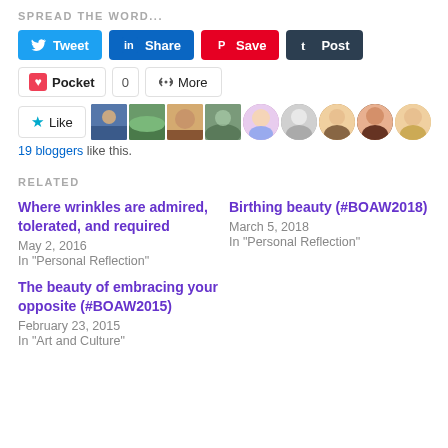SPREAD THE WORD...
[Figure (infographic): Social sharing buttons: Tweet (Twitter/blue), Share (LinkedIn/blue), Save (Pinterest/red), Post (Tumblr/dark), Pocket, count 0, More]
[Figure (infographic): Like button with star icon, followed by a row of 9 blogger avatar photos]
19 bloggers like this.
RELATED
Where wrinkles are admired, tolerated, and required
May 2, 2016
In "Personal Reflection"
Birthing beauty (#BOAW2018)
March 5, 2018
In "Personal Reflection"
The beauty of embracing your opposite (#BOAW2015)
February 23, 2015
In "Art and Culture"